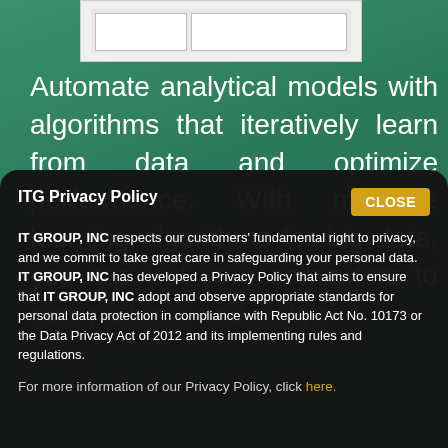[Figure (screenshot): Screenshot thumbnail showing a webpage interface with two panel areas at the top of the page]
Automate analytical models with algorithms that iteratively learn from data and optimize performance. With machine learning algorithms for big data, you can put your computers to [new patterns and insigh...]
ITG Privacy Policy
IT GROUP, INC respects our customers' fundamental right to privacy, and we commit to take great care in safeguarding your personal data. IT GROUP, INC has developed a Privacy Policy that aims to ensure that IT GROUP, INC adopt and observe appropriate standards for personal data protection in compliance with Republic Act No. 10173 or the Data Privacy Act of 2012 and its implementing rules and regulations.
For more information of our Privacy Policy, click here.